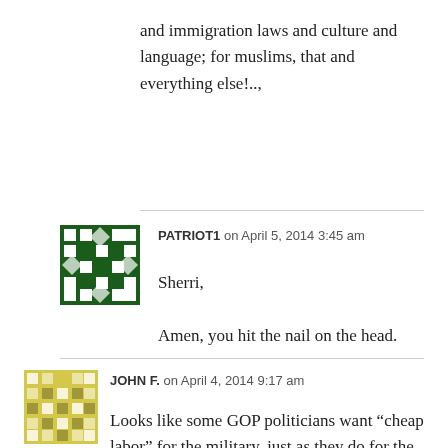and immigration laws and culture and language; for muslims, that and everything else!..,
PATRIOT1 on April 5, 2014 3:45 am
Sherri,

Amen, you hit the nail on the head.
JOHN F. on April 4, 2014 9:17 am
Looks like some GOP politicians want "cheap labor" for the military, just as they do for the work force. An additional "benefit" would be that those illegal aliens who signed up would have to